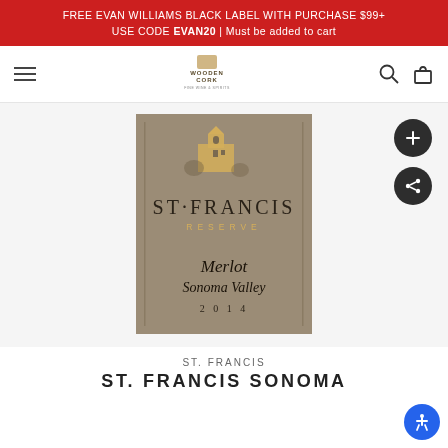FREE EVAN WILLIAMS BLACK LABEL WITH PURCHASE $99+ USE CODE EVAN20 | Must be added to cart
[Figure (screenshot): Wooden Cork website navigation bar with hamburger menu, logo, search icon, and cart icon]
[Figure (photo): St. Francis Reserve Merlot Sonoma Valley 2014 wine bottle label on tan/brown background with tower illustration]
ST. FRANCIS
ST. FRANCIS SONOMA